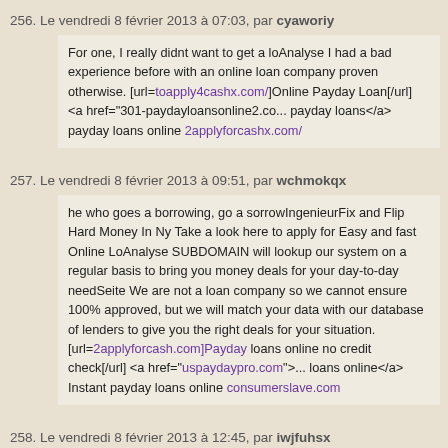256. Le vendredi 8 février 2013 à 07:03, par cyaworiy
For one, I really didnt want to get a loAnalyse I had a bad experience before with an online loan company proven otherwise. [url=toapply4cashx.com/]Online Payday Loan[/url] <a href="301-paydayloansonline2.co... payday loans</a> payday loans online 2applyforcashx.com/
257. Le vendredi 8 février 2013 à 09:51, par wchmokqx
he who goes a borrowing, go a sorrowIngenieurFix and Flip Hard Money In Ny Take a look here to apply for Easy and fast Online LoAnalyse SUBDOMAIN will lookup our system on a regular basis to bring you money deals for your day-to-day needSeite We are not a loan company so we cannot ensure 100% approved, but we will match your data with our database of lenders to give you the right deals for your situation. [url=2applyforcash.com]Payday loans online no credit check[/url] <a href="uspaydaypro.com">... loans online</a> Instant payday loans online consumerslave.com
258. Le vendredi 8 février 2013 à 12:45, par iwjfuhsx
Continue readingSometimes a person has a issue you a credit card with a spending limit that you must stay within. [url=edisonhealthinnovations.c... payday loans[/url] <a href="toapply4cashx.com/"&... Loans Online Direct